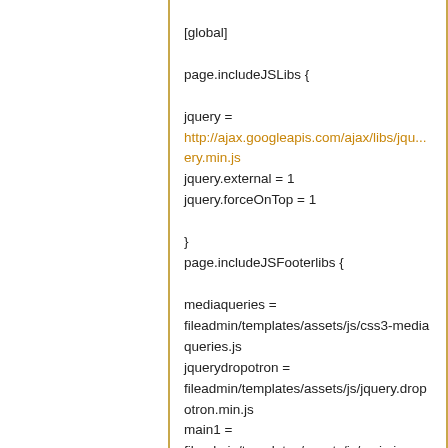[global]

page.includeJSLibs {

jquery =
http://ajax.googleapis.com/ajax/libs/jqu...ery.min.js
jquery.external = 1
jquery.forceOnTop = 1

}
page.includeJSFooterlibs {

mediaqueries =
fileadmin/templates/assets/js/css3-mediaqueries.js
jquerydropotron =
fileadmin/templates/assets/js/jquery.dropotron.min.js
main1 =
fileadmin/templates/assets/js/main.js
skelmin =
fileadmin/templates/assets/js/skel.min.js
skelviewport =
fileadmin/templates/assets/js/skel-viewport.min.js